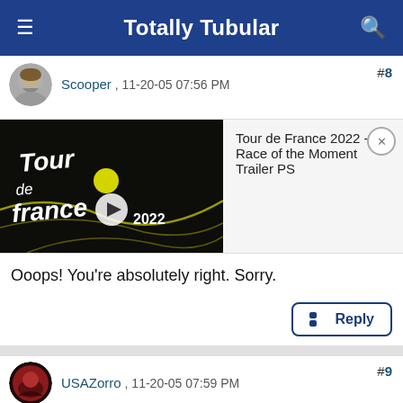Totally Tubular
Scooper , 11-20-05 07:56 PM
[Figure (screenshot): Tour de France 2022 video embed with thumbnail showing Tour de France logo on black background and play button, with title 'Tour de France 2022 - Race of the Moment Trailer PS']
Ooops! You're absolutely right. Sorry.
USAZorro , 11-20-05 07:59 PM
Señor Member
Here are a few things I've learned about preparing tubulars for installation in the past 6-7 months.